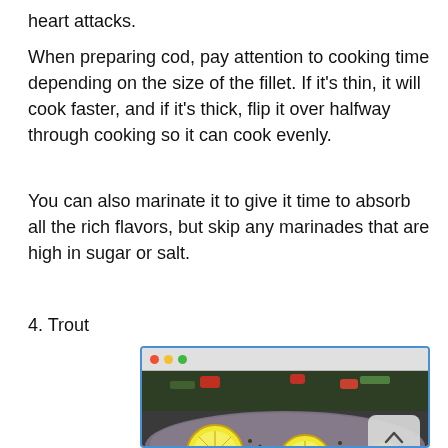heart attacks.
When preparing cod, pay attention to cooking time depending on the size of the fillet. If it's thin, it will cook faster, and if it's thick, flip it over halfway through cooking so it can cook evenly.
You can also marinate it to give it time to absorb all the rich flavors, but skip any marinades that are high in sugar or salt.
4. Trout
[Figure (photo): A photo of trout fish fillets garnished with lemon slices and colorful vegetables in a pan, shown inside a browser window screenshot with a back-to-top button overlay.]